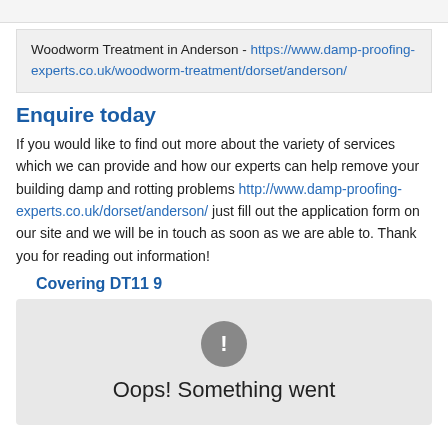Woodworm Treatment in Anderson - https://www.damp-proofing-experts.co.uk/woodworm-treatment/dorset/anderson/
Enquire today
If you would like to find out more about the variety of services which we can provide and how our experts can help remove your building damp and rotting problems http://www.damp-proofing-experts.co.uk/dorset/anderson/ just fill out the application form on our site and we will be in touch as soon as we are able to. Thank you for reading out information!
Covering DT11 9
[Figure (other): Map placeholder with error icon and 'Oops! Something went' message on grey background]